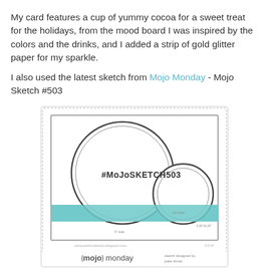My card features a cup of yummy cocoa for a sweet treat for the holidays, from the mood board I was inspired by the colors and the drinks, and I added a strip of gold glitter paper for my sparkle.
I also used the latest sketch from Mojo Monday - Mojo Sketch #503
[Figure (illustration): Mojo Monday sketch card showing two overlapping circles (one large, one smaller to the right) on a white background with a teal/mint horizontal band. Text '#MOJOSKETCH503' inside the large circle. Bottom of card shows '{mojo}monday' logo and 'sketch designed by julee tilman'. There is a dotted border around the outer card frame.]